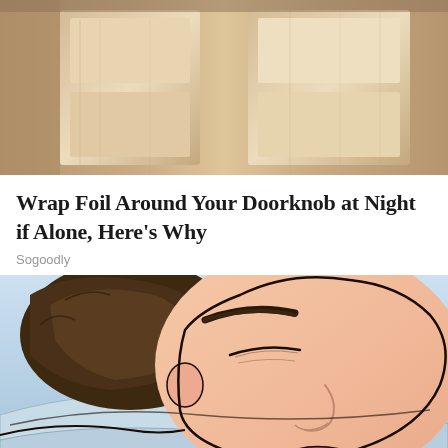[Figure (photo): Photo of a wooden door with light-colored wood grain panels visible from below, taken at an angle looking up.]
Wrap Foil Around Your Doorknob at Night if Alone, Here's Why
Sogoodly
[Figure (illustration): Comic/cartoon style illustration of a woman sleeping sideways on a pillow with blue sheets, eyes closed, with stylized features.]